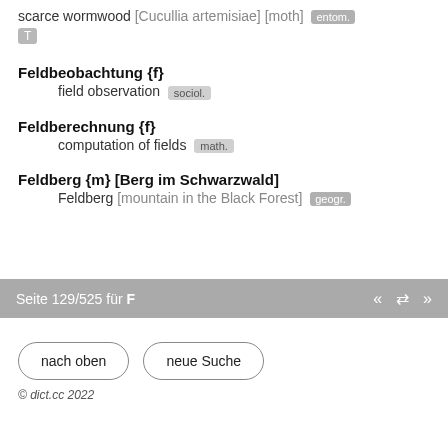scarce wormwood [Cucullia artemisiae] [moth] entom. T
Feldbeobachtung {f} — field observation [sociol.]
Feldberechnung {f} — computation of fields [math.]
Feldberg {m} [Berg im Schwarzwald] — Feldberg [mountain in the Black Forest] [geogr.]
Seite 129/525 für F « ⇄ »
nach oben | neue Suche
© dict.cc 2022